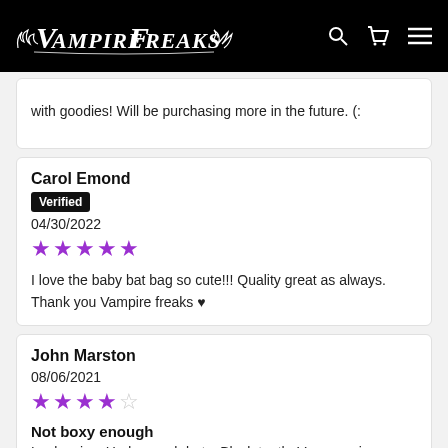VampireFreaks
with goodies! Will be purchasing more in the future. (:
Carol Emond
Verified
04/30/2022
★★★★★
I love the baby bat bag so cute!!! Quality great as always. Thank you Vampire freaks ♥
John Marston
08/06/2021
★★★★☆
Not boxy enough
Looks nice. Had enough bats. Black teeth. Very spacious. Though, it is a bit floppy. Like a purse, almost. Fine if you like that. If not, then